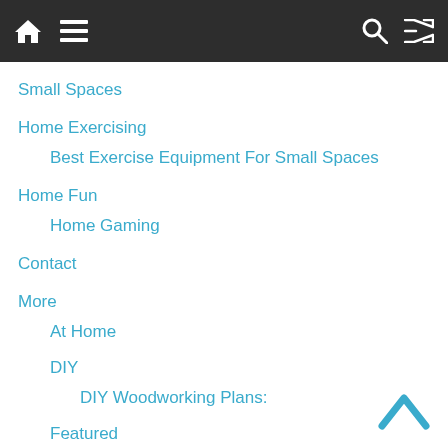Navigation bar with home, menu, search, and shuffle icons
Small Spaces
Home Exercising
Best Exercise Equipment For Small Spaces
Home Fun
Home Gaming
Contact
More
At Home
DIY
DIY Woodworking Plans:
Featured
Corner Plants
Work From Home